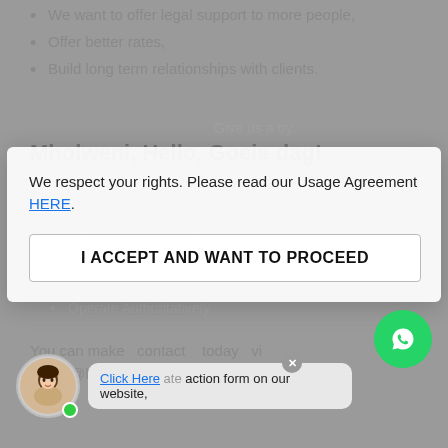We want to offer legal support to more people,
Offer better rates,
Build long term relationships with clients.
Give us a try.
Mholweni, Hello, Goeie dag!
We assist with absolutely all private
We respect your rights. Please read our Usage Agreement HERE.
Offer online e-consults, (see: https://www.lawyers-online.co.za/shop/)
Operate Authoritatively.
I ACCEPT AND WANT TO PROCEED
You can make contact today via action@lawyers-online.co.za, or
Click Here  ate action form on our website,